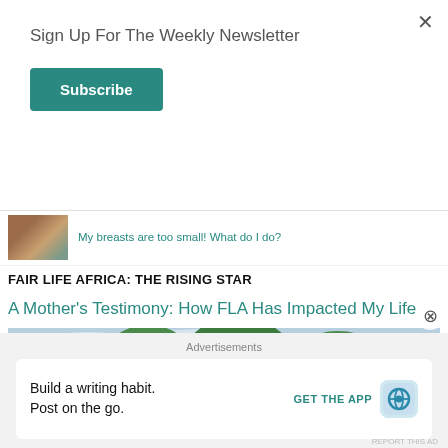Sign Up For The Weekly Newsletter
Subscribe
My breasts are too small! What do I do?
FAIR LIFE AFRICA: THE RISING STAR
A Mother's Testimony: How FLA Has Impacted My Life
[Figure (photo): Group of children and young people standing in front of a colorful mural wall with large letters, trees in background, outdoor setting in Africa]
Advertisements
Build a writing habit. Post on the go.
GET THE APP